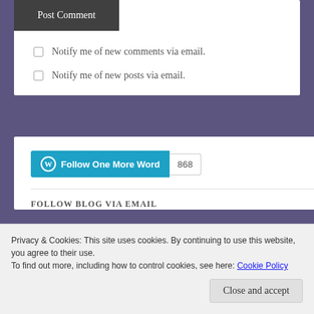[Figure (screenshot): Post Comment button — dark gray background, white text]
Notify me of new comments via email.
Notify me of new posts via email.
[Figure (screenshot): Follow One More Word WordPress follow button with 868 follower count badge]
FOLLOW BLOG VIA EMAIL
Privacy & Cookies: This site uses cookies. By continuing to use this website, you agree to their use.
To find out more, including how to control cookies, see here: Cookie Policy
Close and accept